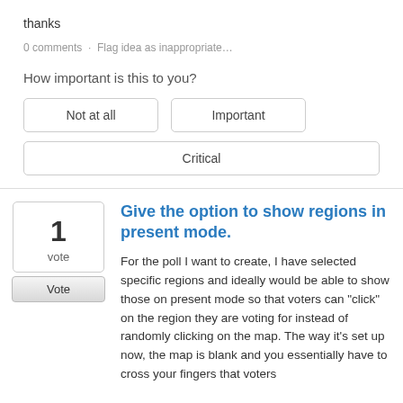thanks
0 comments · Flag idea as inappropriate…
How important is this to you?
Not at all
Important
Critical
Give the option to show regions in present mode.
For the poll I want to create, I have selected specific regions and ideally would be able to show those on present mode so that voters can "click" on the region they are voting for instead of randomly clicking on the map. The way it's set up now, the map is blank and you essentially have to cross your fingers that voters